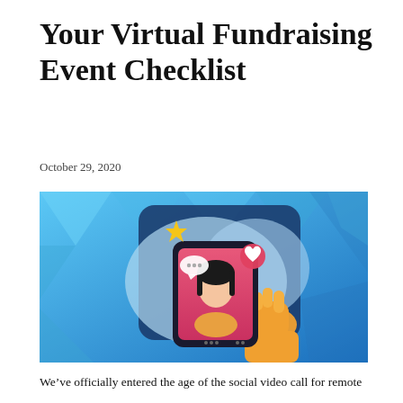Your Virtual Fundraising Event Checklist
October 29, 2020
[Figure (illustration): Colorful illustration of a hand holding a smartphone showing a video call with a woman, with social media reaction icons (star, heart, chat bubble) floating around, on a blue geometric background.]
We've officially entered the age of the social video call for remote